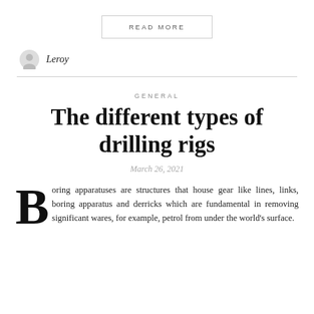READ MORE
Leroy
GENERAL
The different types of drilling rigs
March 26, 2021
Boring apparatuses are structures that house gear like lines, links, boring apparatus and derricks which are fundamental in removing significant wares, for example, petrol from under the world's surface.